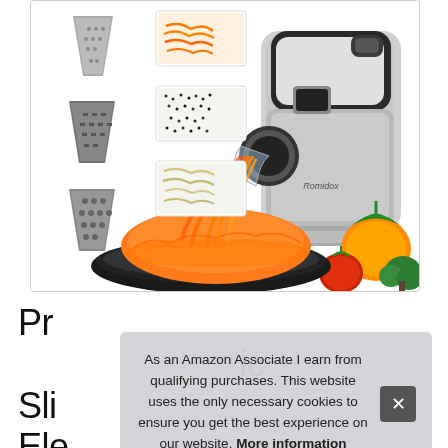[Figure (photo): Electric salad shooter/grater product photo showing the appliance with three cone-shaped attachments on the left, small inset images of shredded carrots, ground pepper, and shredded zucchini, and large pile of shredded carrots on a black plate in front of the machine. Orange bell pepper, tomato, and broccoli visible in background. Romidox brand logo on machine.]
Professional Salad Shooter Electric Slicer/Shredder, Electric Salad Shooter, 150W Electric
As an Amazon Associate I earn from qualifying purchases. This website uses the only necessary cookies to ensure you get the best experience on our website. More information